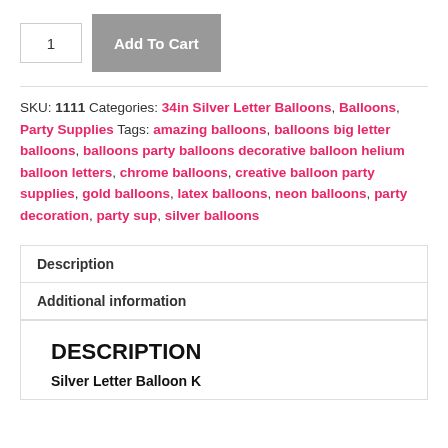1  Add To Cart
SKU: 1111  Categories: 34in Silver Letter Balloons, Balloons, Party Supplies  Tags: amazing balloons, balloons big letter balloons, balloons party balloons decorative balloon helium balloon letters, chrome balloons, creative balloon party supplies, gold balloons, latex balloons, neon balloons, party decoration, party sup, silver balloons
Description
Additional information
DESCRIPTION
Silver Letter Balloon K